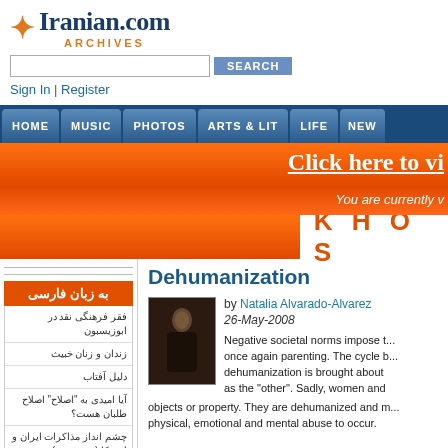[Figure (logo): Iranian.com Archives logo with orange fish icon and blue serif text]
Sign In | Register
HOME | MUSIC | PHOTOS | ARTS & LIT | LIFE | NEW
[Figure (screenshot): Orange banner: Click here to vi... You are currently v...]
[Figure (infographic): Orange block with KHOS text]
Dehumanization
by Natalia Alvarado-Alvarez
26-May-2008
[Figure (photo): Dark sepia photo of a woman in black]
Negative societal norms impose t... once again parenting. The cycle b... dehumanization is brought about... as the "other". Sadly, women and... objects or property. They are dehumanized and m... physical, emotional and mental abuse to occur.
به زبان فارسی
فقر فرهنگی نقد در ابوزیسبون
زندان و زنان خبیث
دلیل آفتاب
آیا امیدی به "اصلاح" اصلاح طلبان هست؟
چشم انداز مذاکرات ایران و امریکا (بخش دوم)
بستر